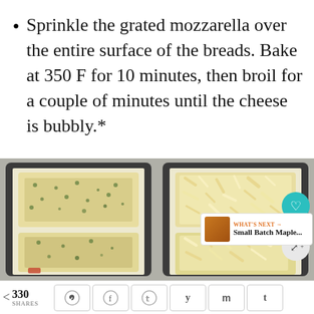Sprinkle the grated mozzarella over the entire surface of the breads. Bake at 350 F for 10 minutes, then broil for a couple of minutes until the cheese is bubbly.*
[Figure (photo): Two side-by-side photos of bread loaves in a dark baking pan lined with parchment. Left photo shows bread with herb topping (before cheese). Right photo shows bread with grated mozzarella cheese on top (before baking). Right side has a teal heart icon with number 16 below it, a share icon, and a 'What's Next' panel showing Small Batch Maple...]
< 330 SHARES  [pinterest] [facebook] [twitter] [yummly] [mail] [tumblr]